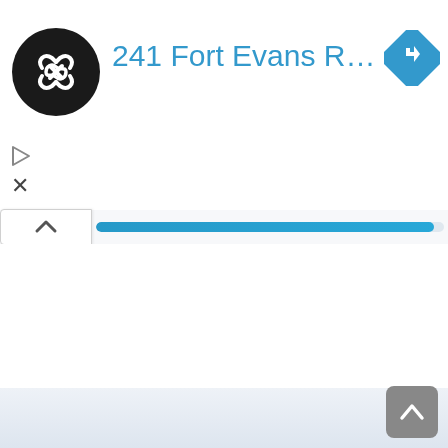[Figure (screenshot): Mobile app UI screenshot showing a navigation/directions app. Top section has a partially cropped header with 'OPEN' status text. Below is a circular black logo with chain-link/infinity icon on the left, a blue address text '241 Fort Evans Rd NE, Lee...' in the center, and a blue turn-by-turn navigation diamond icon on the right. Two small icons (play triangle and X close) appear below the logo. A progress bar row shows a white chevron-up button and a nearly full blue horizontal progress bar. The rest of the page is white/blank with a light blue-grey bottom bar and a grey scroll-to-top button in the bottom right corner.]